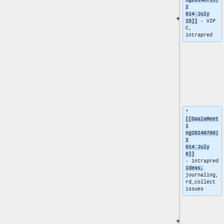* [[DaalaMeeting20140715|2014 July 15]] - VIPC, intrapred
* [[DaalaMeeting20140708|2014 July 8]] - intrapred ideas, journaling, rd_collect issues
* [[DaalaMeeting20140701|2014 July 1]] - multi-frame motion compensation …more